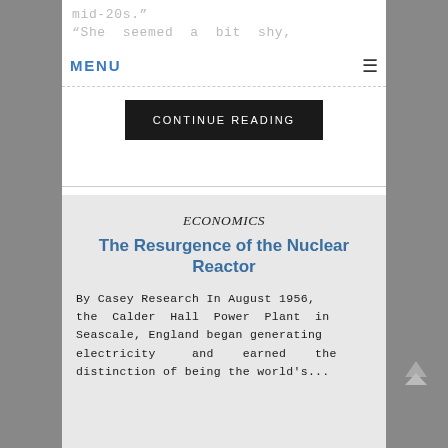mid-20s." "She seemed a bit shy, she...
MENU ☰
CONTINUE READING
ECONOMICS
The Resurgence of the Nuclear Reactor
By Casey Research In August 1956, the Calder Hall Power Plant in Seascale, England began generating electricity and earned the distinction of being the world's...